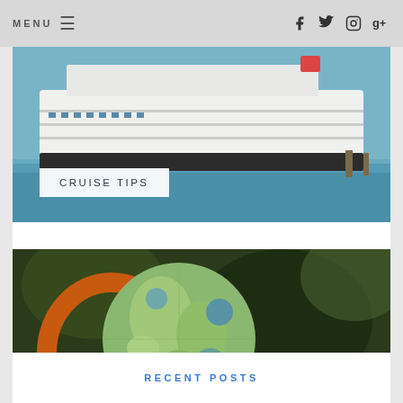MENU ☰   f  t  📷  g+
[Figure (photo): Cruise ship docked at port with blue water in foreground]
CRUISE TIPS
[Figure (photo): Orange globe/world map stand in foreground with green trees in background]
INTERNATIONAL TRAVEL TIPS
RECENT POSTS